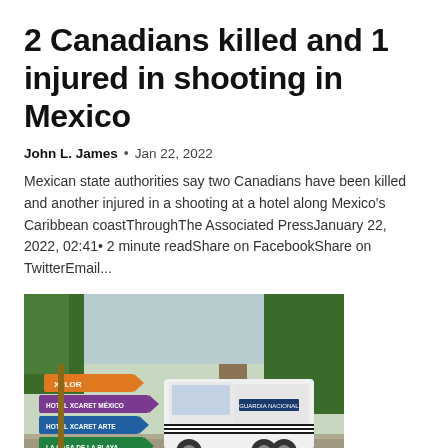2 Canadians killed and 1 injured in shooting in Mexico
John L. James  •  Jan 22, 2022
Mexican state authorities say two Canadians have been killed and another injured in a shooting at a hotel along Mexico's Caribbean coastThroughThe Associated PressJanuary 22, 2022, 02:41• 2 minute readShare on FacebookShare on TwitterEmail...
[Figure (photo): A white Guardia Nacional (National Guard) pickup truck parked near colorful directional signs pointing to various hotels and destinations including XPLOR, Hotel Xcaret Mexico, Hotel Xcaret Arte, and La Casa de la Playa, with palm trees and a tower visible in the background.]
2 Canadians killed and another